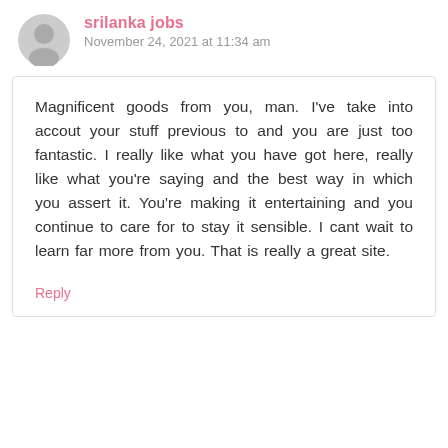srilanka jobs
November 24, 2021 at 11:34 am
Magnificent goods from you, man. I've take into accout your stuff previous to and you are just too fantastic. I really like what you have got here, really like what you're saying and the best way in which you assert it. You're making it entertaining and you continue to care for to stay it sensible. I cant wait to learn far more from you. That is really a great site.
Reply